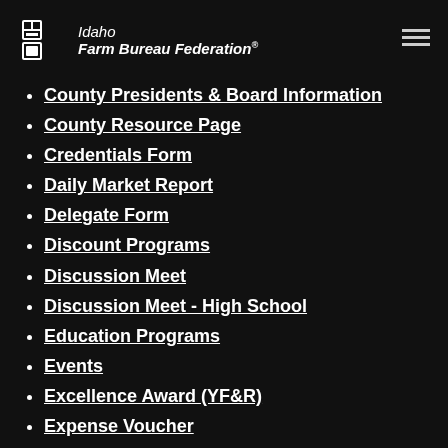Idaho Farm Bureau Federation
County Presidents & Board Information
County Resource Page
Credentials Form
Daily Market Report
Delegate Form
Discount Programs
Discussion Meet
Discussion Meet - High School
Education Programs
Events
Excellence Award (YF&R)
Expense Voucher
Facebook
Flickr
Gem State Producer
High School Discussion Meet